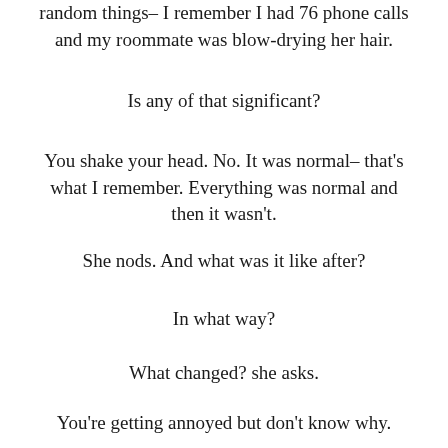random things– I remember I had 76 phone calls and my roommate was blow-drying her hair.
Is any of that significant?
You shake your head. No. It was normal– that's what I remember. Everything was normal and then it wasn't.
She nods. And what was it like after?
In what way?
What changed? she asks.
You're getting annoyed but don't know why.